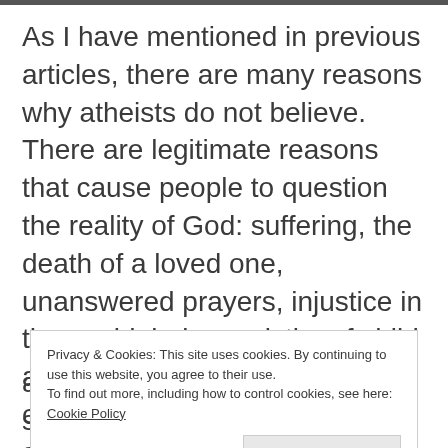As I have mentioned in previous articles, there are many reasons why atheists do not believe. There are legitimate reasons that cause people to question the reality of God: suffering, the death of a loved one, unanswered prayers, injustice in the world, being a victim of child abuse... All these ugly realities can raise serious questions about the existence of a just
Privacy & Cookies: This site uses cookies. By continuing to use this website, you agree to their use.
To find out more, including how to control cookies, see here:
Cookie Policy
Close and accept
are wounded emotions that sometimes